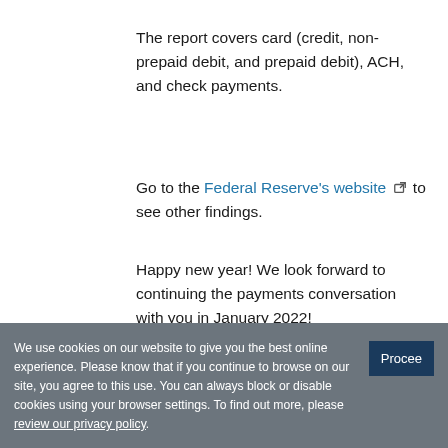The report covers card (credit, non-prepaid debit, and prepaid debit), ACH, and check payments.
Go to the Federal Reserve's website to see other findings.
Happy new year! We look forward to continuing the payments conversation with you in January 2022!
[Figure (photo): Photo of Claire Greene, a payments risk expert]
By Claire Greene, a payments risk expert in the Retail Payments Risk F... the Atlanta Fed...
We use cookies on our website to give you the best online experience. Please know that if you continue to browse on our site, you agree to this use. You can always block or disable cookies using your browser settings. To find out more, please review our privacy policy.